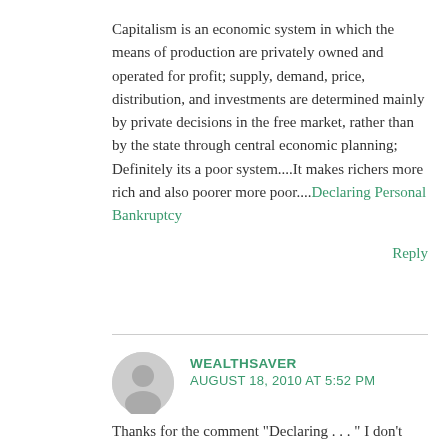Capitalism is an economic system in which the means of production are privately owned and operated for profit; supply, demand, price, distribution, and investments are determined mainly by private decisions in the free market, rather than by the state through central economic planning; Definitely its a poor system....It makes richers more rich and also poorer more poor....Declaring Personal Bankruptcy
Reply
WEALTHSAVER
AUGUST 18, 2010 AT 5:52 PM
Thanks for the comment "Declaring . . . " I don't think capitalism in its pure form is a "poor"